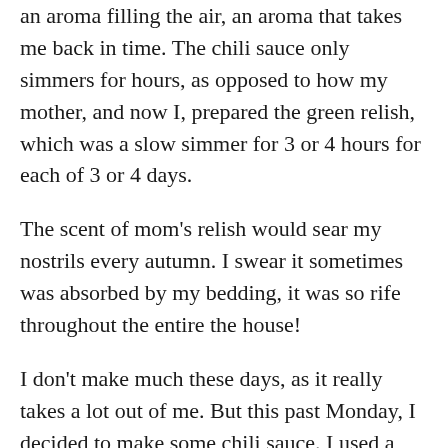an aroma filling the air, an aroma that takes me back in time. The chili sauce only simmers for hours, as opposed to how my mother, and now I, prepared the green relish, which was a slow simmer for 3 or 4 hours for each of 3 or 4 days.
The scent of mom's relish would sear my nostrils every autumn. I swear it sometimes was absorbed by my bedding, it was so rife throughout the entire the house!
I don't make much these days, as it really takes a lot out of me. But this past Monday, I decided to make some chili sauce. I used a recipe I found in an old cook book of my mother's, a book that dates back to the 1940s. It was a large yield recipe and I tried my hand at dividing it into thirds, so I made a third of it. The peaches were a guess, because, as I said, that had been my mother-in-law's add-in and weren't included in the original recipe.
The aroma did take me back, as I said, and was pleasant without crossing that line the green sweet relish always crossed in the first hour of its cooking.
And the final product was nice, something hearty filling…